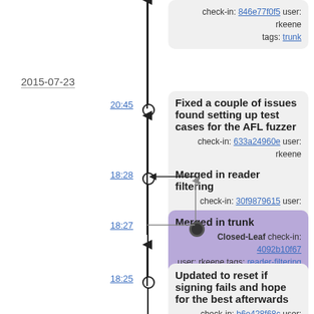2015-07-23
20:45
Fixed a couple of issues found setting up test cases for the AFL fuzzer
check-in: 633a24960e user: rkeene tags: trunk
18:28
Merged in reader filtering
check-in: 30f9879615 user: rkeene tags: trunk
18:27
Merged in trunk
Closed-Leaf check-in: 4092b10f67 user: rkeene tags: reader-filtering
18:25
Updated to reset if signing fails and hope for the best afterwards
check-in: b6e428f68c user: rkeene tags: trunk
18:24
Updated KPS certificates
check-in: fed23dc867 user: rkeene